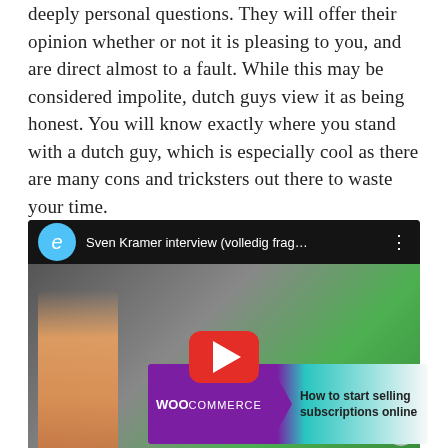deeply personal questions. They will offer their opinion whether or not it is pleasing to you, and are direct almost to a fault. While this may be considered impolite, dutch guys view it as being honest. You will know exactly where you stand with a dutch guy, which is especially cool as there are many cons and tricksters out there to waste your time.
[Figure (screenshot): YouTube video embed showing 'Sven Kramer interview (volledig frag...' with a play button overlay. Shows a young man in an orange shirt with green objects in background.]
Advertisements
[Figure (screenshot): WooCommerce advertisement banner reading 'How to start selling subscriptions online']